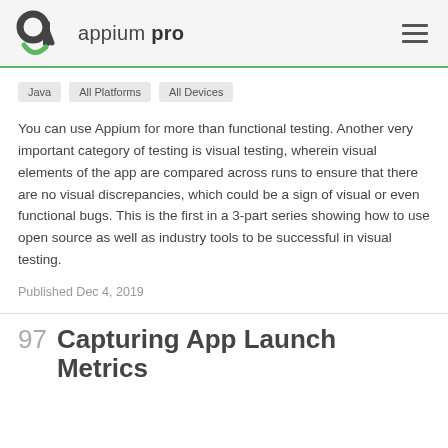appium pro
Java
All Platforms
All Devices
You can use Appium for more than functional testing. Another very important category of testing is visual testing, wherein visual elements of the app are compared across runs to ensure that there are no visual discrepancies, which could be a sign of visual or even functional bugs. This is the first in a 3-part series showing how to use open source as well as industry tools to be successful in visual testing.
Published Dec 4, 2019
97 Capturing App Launch Metrics